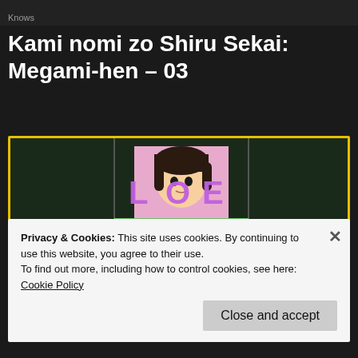Knows
Kami nomi zo Shiru Sekai: Megami-hen – 03
[Figure (screenshot): Screenshot from anime 'Kami nomi zo Shiru Sekai: Megami-hen' episode 03 showing a game-like interface with anime characters and score overlays: +4 in red, +1 in purple, L+? in purple, RE+5 in orange, +3? in green, NORMAL text, on a colorful tiled background.]
Privacy & Cookies: This site uses cookies. By continuing to use this website, you agree to their use.
To find out more, including how to control cookies, see here: Cookie Policy
Close and accept